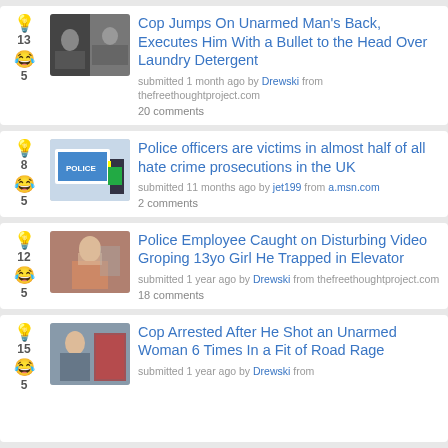Cop Jumps On Unarmed Man's Back, Executes Him With a Bullet to the Head Over Laundry Detergent — submitted 1 month ago by Drewski from thefreethoughtproject.com — 20 comments — votes: 13, 5
Police officers are victims in almost half of all hate crime prosecutions in the UK — submitted 11 months ago by jet199 from a.msn.com — 2 comments — votes: 8, 5
Police Employee Caught on Disturbing Video Groping 13yo Girl He Trapped in Elevator — submitted 1 year ago by Drewski from thefreethoughtproject.com — 18 comments — votes: 12, 5
Cop Arrested After He Shot an Unarmed Woman 6 Times In a Fit of Road Rage — submitted 1 year ago by Drewski from — votes: 15, 5